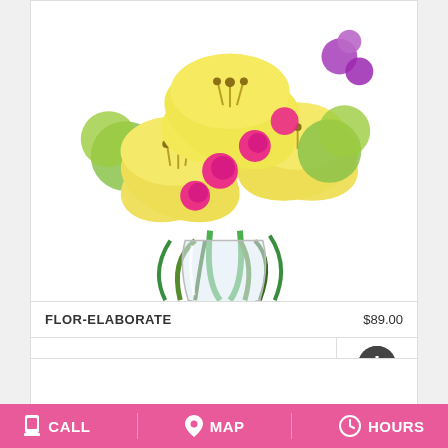[Figure (photo): A floral arrangement in a glass vase featuring yellow lilies, hot pink roses, green pom-pom flowers, and purple flowers against a white background.]
FLOR-ELABORATE   $89.00
BUY NOW
[Figure (other): Info icon — white letter i in a dark circle]
CALL   MAP   HOURS